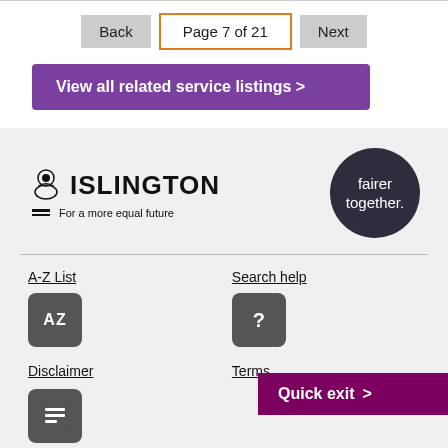Back | Page 7 of 21 | Next
View all related service listings >
[Figure (logo): Islington Council logo with crest and text 'ISLINGTON For a more equal future']
[Figure (logo): Fairer together circular logo, dark circle with white text 'fairer together.']
A-Z List | Search help | Disclaimer | Terms | Quick exit >